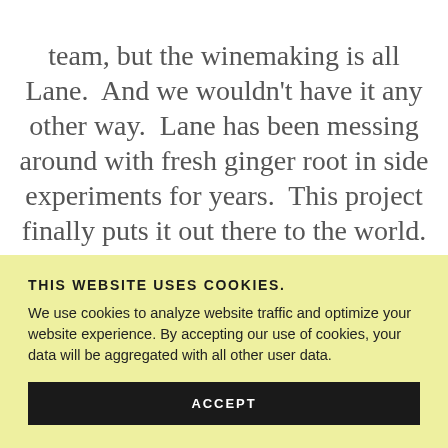team, but the winemaking is all Lane.  And we wouldn't have it any other way.  Lane has been messing around with fresh ginger root in side experiments for years.  This project finally puts it out there to the world. If you appreciate women who take on the world and have been
THIS WEBSITE USES COOKIES.
We use cookies to analyze website traffic and optimize your website experience. By accepting our use of cookies, your data will be aggregated with all other user data.
ACCEPT